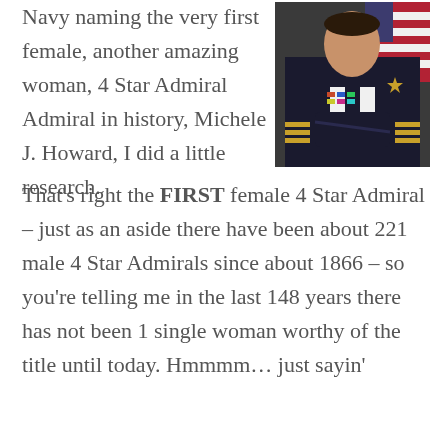Navy naming the very first female, another amazing woman, 4 Star Admiral Admiral in history, Michele J. Howard, I did a little research.
[Figure (photo): A female Navy Admiral in dress uniform with medals and gold stripes, posed in front of an American flag]
That's right the FIRST female 4 Star Admiral – just as an aside there have been about 221 male 4 Star Admirals since about 1866 – so you're telling me in the last 148 years there has not been 1 single woman worthy of the title until today. Hmmmm… just sayin'